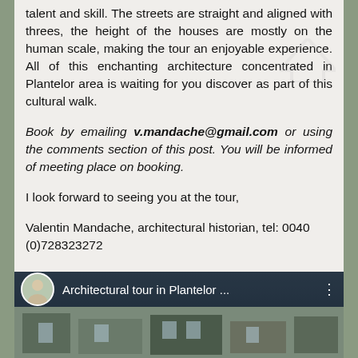talent and skill. The streets are straight and aligned with threes, the height of the houses are mostly on the human scale, making the tour an enjoyable experience. All of this enchanting architecture concentrated in Plantelor area is waiting for you discover as part of this cultural walk.
Book by emailing v.mandache@gmail.com or using the comments section of this post. You will be informed of meeting place on booking.
I look forward to seeing you at the tour,
Valentin Mandache, architectural historian, tel: 0040 (0)728323272
[Figure (screenshot): Video thumbnail showing 'Architectural tour in Plantelor ...' with a circular avatar of a person and video controls overlay on a building facade background.]